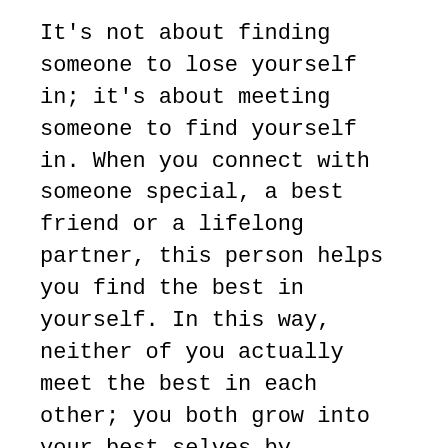It's not about finding someone to lose yourself in; it's about meeting someone to find yourself in. When you connect with someone special, a best friend or a lifelong partner, this person helps you find the best in yourself. In this way, neither of you actually meet the best in each other; you both grow into your best selves by spending time together and nurturing each other's growth.
When you honestly think about what you and your closest confidants add to each other's lives, you will often find that instead of giving or taking things from each other (advice, answers, material gifts, etc.), you